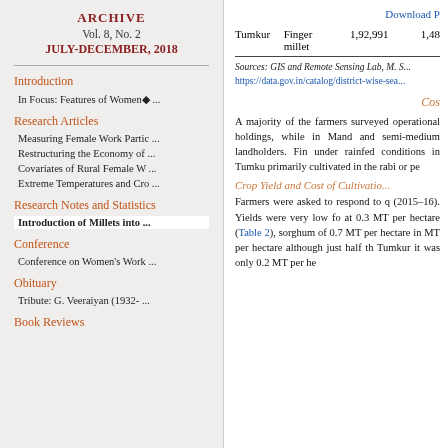ARCHIVE
Vol. 8, No. 2
JULY-DECEMBER, 2018
Introduction
In Focus: Features of Women◆ ...
Research Articles
Measuring Female Work Partic ...
Restructuring the Economy of ...
Covariates of Rural Female W ...
Extreme Temperatures and Cro ...
Research Notes and Statistics
Introduction of Millets into ...
Conference
Conference on Women's Work ...
Obituary
Tribute: G. Veeraiyan (1932- ...
Book Reviews
Download P
|  | Finger millet | 1,92,991 | 1,48... |
| --- | --- | --- | --- |
| Tumkur | Finger millet | 1,92,991 | 1,48... |
Sources: GIS and Remote Sensing Lab, M. ... https://data.gov.in/catalog/district-wise-sea...
Cos...
A majority of the farmers surveyed operational holdings, while in Mand and semi-medium landholders. Fin under rainfed conditions in Tumku primarily cultivated in the rabi or pe
Crop Yield and Cost of Cultivatio...
Farmers were asked to respond to q (2015–16). Yields were very low fo at 0.3 MT per hectare (Table 2), sorghum of 0.7 MT per hectare in MT per hectare although just half th Tumkur it was only 0.2 MT per he